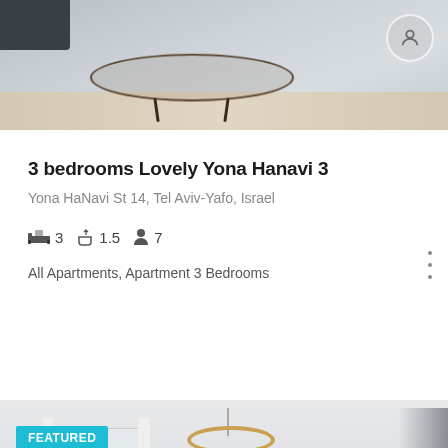[Figure (photo): Interior photo of an apartment living room showing a coffee table with dark metal legs on a light wood floor]
3 bedrooms Lovely Yona Hanavi 3
Yona HaNavi St 14, Tel Aviv-Yafo, Israel
3  1.5  7
All Apartments, Apartment 3 Bedrooms
[Figure (photo): Interior photo of a modern apartment living room with a large circular pendant lamp, curtained windows, grey sofa with white pillow, wall decorations, and a star-shaped ornament on the wall. A FEATURED badge is shown in teal in top-left corner.]